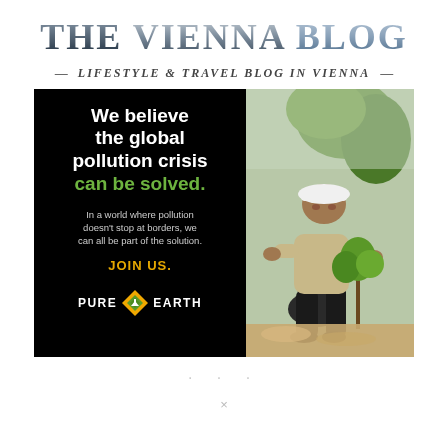THE VIENNA BLOG
LIFESTYLE & TRAVEL BLOG IN VIENNA
[Figure (photo): Pure Earth advertisement: black panel on left with text 'We believe the global pollution crisis can be solved. In a world where pollution doesn't stop at borders, we can all be part of the solution. JOIN US. PURE EARTH' with a diamond logo. Right side shows a photo of a person in a hard hat planting a sapling outdoors.]
...